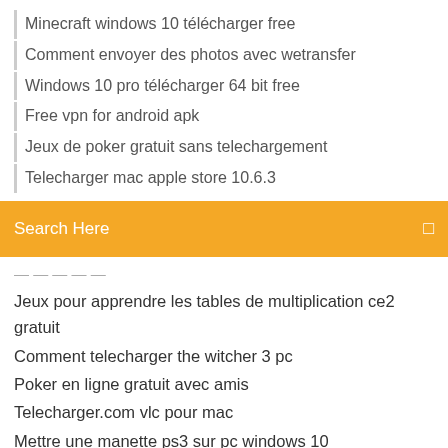Minecraft windows 10 télécharger free
Comment envoyer des photos avec wetransfer
Windows 10 pro télécharger 64 bit free
Free vpn for android apk
Jeux de poker gratuit sans telechargement
Telecharger mac apple store 10.6.3
[Figure (screenshot): Orange search bar with 'Search Here' placeholder text and a search icon on the right]
Jeux pour apprendre les tables de multiplication ce2 gratuit
Comment telecharger the witcher 3 pc
Poker en ligne gratuit avec amis
Telecharger.com vlc pour mac
Mettre une manette ps3 sur pc windows 10
♥  5 Tháng Tám 2014 ... (GenK.vn) - Chắc chắn cảm giác "trống vắng" Google Maps thực sự rất khó tả, vậy đâu là những ứng dụng thay thế phù hợp ngoài Here Maps?